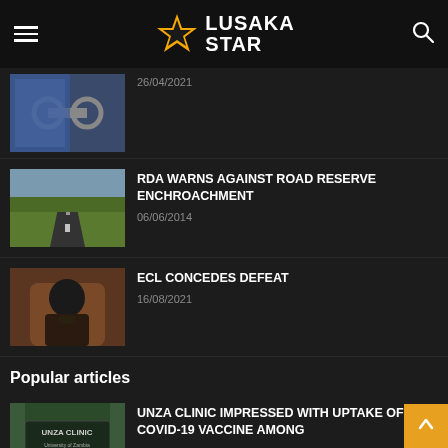Lusaka Star
[Figure (photo): Thumbnail of handcuffs with blue cloth]
26/04/2021
[Figure (photo): Thumbnail of an empty road stretching into the distance]
RDA WARNS AGAINST ROAD RESERVE ENCHROACHMENT
06/06/2014
[Figure (photo): Thumbnail of a man sitting with hand on chin, thinking]
ECL CONCEDES DEFEAT
16/08/2021
Popular articles
[Figure (photo): Thumbnail of UNZA Clinic sign]
UNZA CLINIC IMPRESSED WITH UPTAKE OF COVID-19 VACCINE AMONG